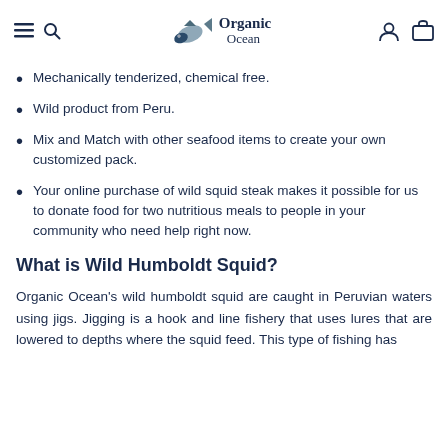Organic Ocean
Mechanically tenderized, chemical free.
Wild product from Peru.
Mix and Match with other seafood items to create your own customized pack.
Your online purchase of wild squid steak makes it possible for us to donate food for two nutritious meals to people in your community who need help right now.
What is Wild Humboldt Squid?
Organic Ocean's wild humboldt squid are caught in Peruvian waters using jigs. Jigging is a hook and line fishery that uses lures that are lowered to depths where the squid feed. This type of fishing has